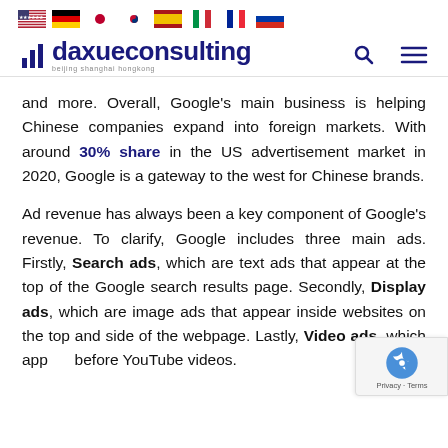Flag icons: US, Germany, Japan, South Korea, Spain, Italy, France, Russia
[Figure (logo): Daxue Consulting logo with bar chart icon and tagline 'beijing shanghai hongkong', plus search and menu icons]
and more. Overall, Google's main business is helping Chinese companies expand into foreign markets. With around 30% share in the US advertisement market in 2020, Google is a gateway to the west for Chinese brands.
Ad revenue has always been a key component of Google's revenue. To clarify, Google includes three main ads. Firstly, Search ads, which are text ads that appear at the top of the Google search results page. Secondly, Display ads, which are image ads that appear inside websites on the top and side of the webpage. Lastly, Video ads, which appear before YouTube videos.